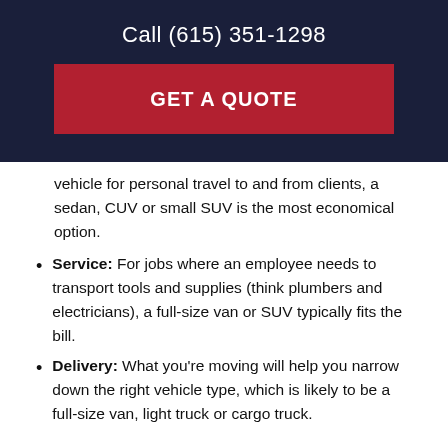Call (615) 351-1298
GET A QUOTE
vehicle for personal travel to and from clients, a sedan, CUV or small SUV is the most economical option.
Service: For jobs where an employee needs to transport tools and supplies (think plumbers and electricians), a full-size van or SUV typically fits the bill.
Delivery: What you're moving will help you narrow down the right vehicle type, which is likely to be a full-size van, light truck or cargo truck.